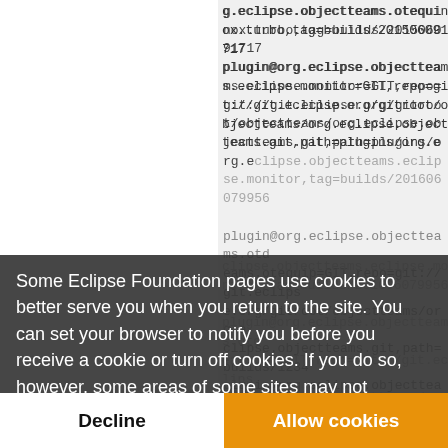g.eclipse.objectteams.otequinox.turbo,tag=builds/201506091717
plugin@org.eclipse.objectteams.eclipse.monitor=GIT,repo=git://git.eclipse.org/gitroot/objectteams/org.eclipse.objectteams.git,path=plugins/org.eclipse.objectteams.eclipse.monitor,tag=builds/201606079956
Some Eclipse Foundation pages use cookies to better serve you when you return to the site. You can set your browser to notify you before you receive a cookie or turn off cookies. If you do so, however, some areas of some sites may not function properly. To read Eclipse Foundation Privacy Policy click here.
Decline
Allow cookies
/** OT/J Plugins **/
plugin@org.eclipse.objectteams.otequ